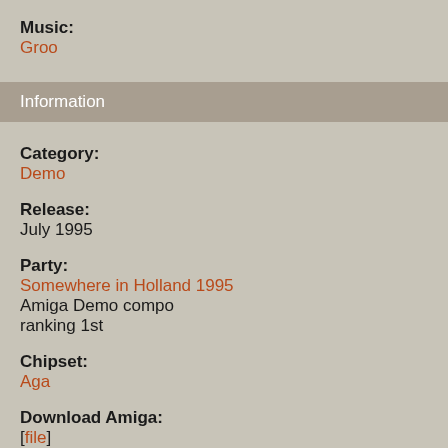Music: Groo
Information
Category: Demo
Release: July 1995
Party: Somewhere in Holland 1995
Amiga Demo compo
ranking 1st
Chipset: Aga
Download Amiga: [file]
Other releases (7)
Baygon (4.24)
Fisherhawk Dr (4.22)